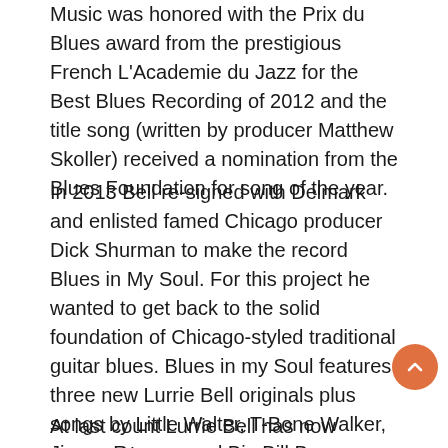Music was honored with the Prix du Blues award from the prestigious French L'Academie du Jazz for the Best Blues Recording of 2012 and the title song (written by producer Matthew Skoller) received a nomination from the Blues Foundation for song of the year.
In 2013 Bell re-signed with Delmark and enlisted famed Chicago producer Dick Shurman to make the record Blues in My Soul. For this project he wanted to get back to the solid foundation of Chicago-styled traditional guitar blues. Blues in my Soul features three new Lurrie Bell originals plus songs by Little Walter, T-Bone Walker, Jimmy Rogers, and Big Bill Broonzy and others. In 2016 Bell returned to studio with Dick Shurman for his next Delmark CD “Can’t Shake This Feeling.”
At last count Lurrie Bell has now appeared on